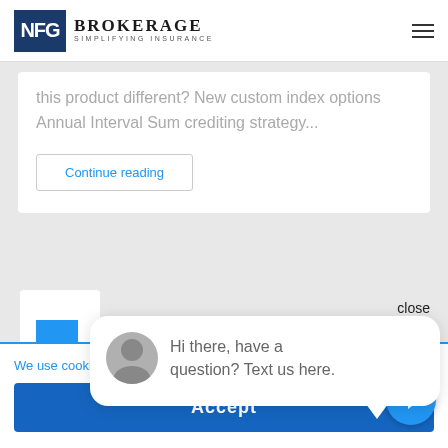NFG Brokerage — Simplifying Insurance
this product different? New custom index options Annual Interval Sum crediting strategy...
Continue reading
close
Hi there, have a question? Text us here.
We use cookies to op
Accept